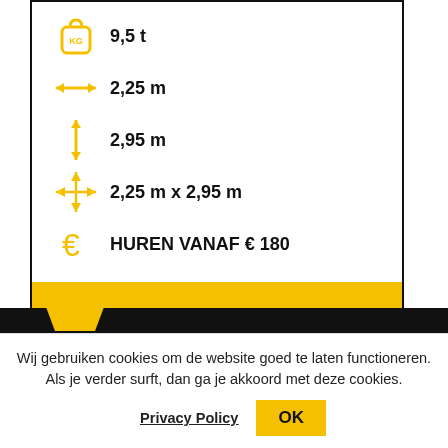9,5 t
2,25 m
2,95 m
2,25 m x 2,95 m
HUREN VANAF € 180
VRAAG OFFERTE AAN
[Figure (logo): Yellow logo mark on black background]
Wij gebruiken cookies om de website goed te laten functioneren. Als je verder surft, dan ga je akkoord met deze cookies.
Privacy Policy  OK